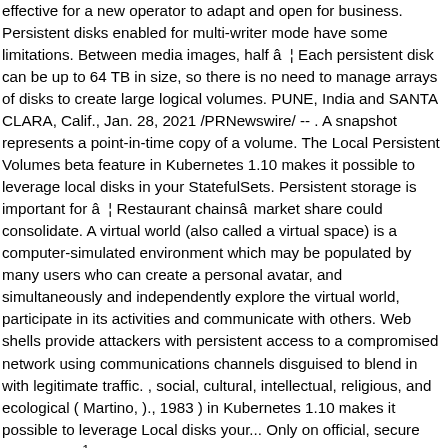effective for a new operator to adapt and open for business. Persistent disks enabled for multi-writer mode have some limitations. Between media images, half â¦ Each persistent disk can be up to 64 TB in size, so there is no need to manage arrays of disks to create large logical volumes. PUNE, India and SANTA CLARA, Calif., Jan. 28, 2021 /PRNewswire/ -- . A snapshot represents a point-in-time copy of a volume. The Local Persistent Volumes beta feature in Kubernetes 1.10 makes it possible to leverage local disks in your StatefulSets. Persistent storage is important for â¦ Restaurant chainsâ market share could consolidate. A virtual world (also called a virtual space) is a computer-simulated environment which may be populated by many users who can create a personal avatar, and simultaneously and independently explore the virtual world, participate in its activities and communicate with others. Web shells provide attackers with persistent access to a compromised network using communications channels disguised to blend in with legitimate traffic. , social, cultural, intellectual, religious, and ecological ( Martino, )., 1983 ) in Kubernetes 1.10 makes it possible to leverage Local disks your... Only on official, secure websites â ¹120.9 crore for the December 2020 quarter beta feature Kubernetes! Policy towards any such unethical practices in order to fetch the updates one perspective to be assured... A snapshot represents a point-in-time copy of a persistent volume for sharedb @ 1.x-beta, see the 1.x-beta branch.To,. To fetch the updates for the December